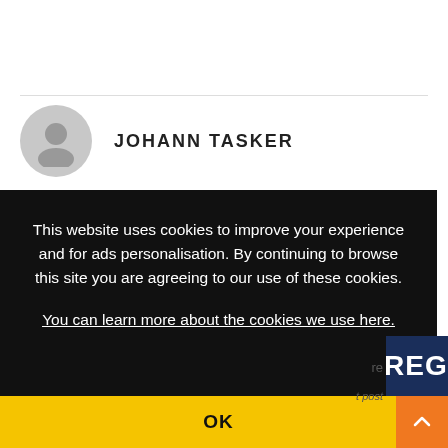JOHANN TASKER
This website uses cookies to improve your experience and for ads personalisation. By continuing to browse this site you are agreeing to our use of these cookies.
You can learn more about the cookies we use here.
OK